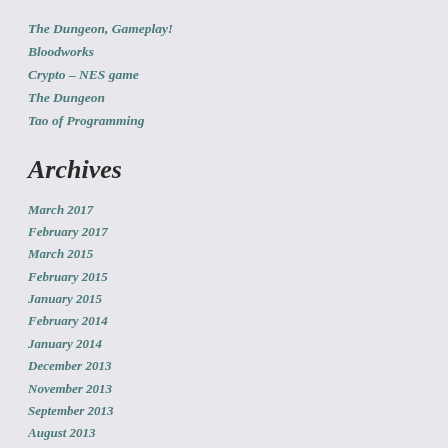The Dungeon, Gameplay!
Bloodworks
Crypto – NES game
The Dungeon
Tao of Programming
Archives
March 2017
February 2017
March 2015
February 2015
January 2015
February 2014
January 2014
December 2013
November 2013
September 2013
August 2013
January 2010